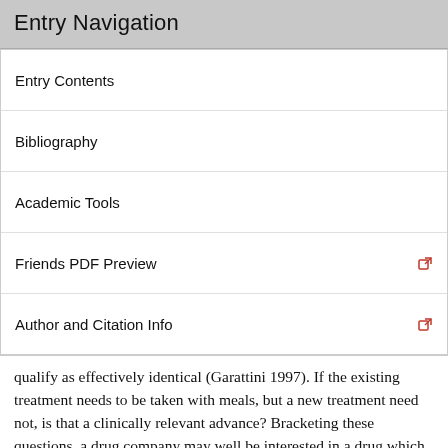Entry Navigation
Entry Contents
Bibliography
Academic Tools
Friends PDF Preview
Author and Citation Info
qualify as effectively identical (Garattini 1997). If the existing treatment needs to be taken with meals, but a new treatment need not, is that a clinically relevant advance? Bracketing these questions, a drug company may well be interested in a drug which clearly qualifies as a me-too drug. The company may be able, by relying on a savvy marketing department, to convince physicians to prescribe, and consumers to request the new one, thus increasing profit for the company without advancing health and well-being.
The majority of clinical research has once conducted by